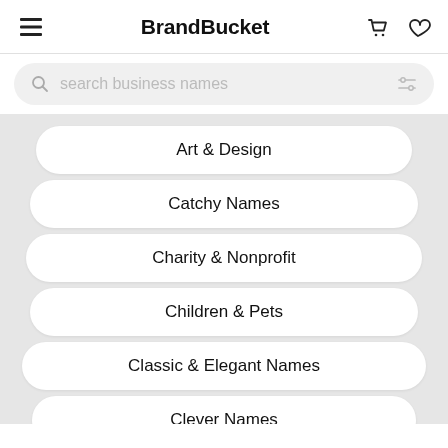BrandBucket
search business names
Art & Design
Catchy Names
Charity & Nonprofit
Children & Pets
Classic & Elegant Names
Clever Names